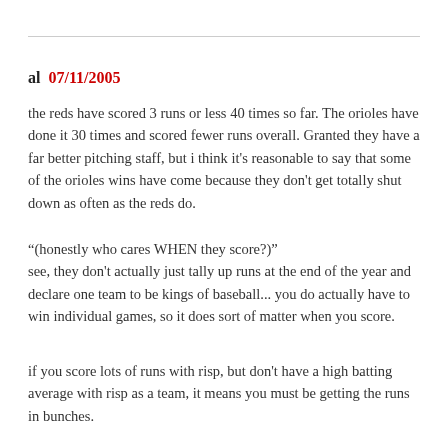al 07/11/2005
the reds have scored 3 runs or less 40 times so far. The orioles have done it 30 times and scored fewer runs overall. Granted they have a far better pitching staff, but i think it's reasonable to say that some of the orioles wins have come because they don't get totally shut down as often as the reds do.
"(honestly who cares WHEN they score?)"
see, they don't actually just tally up runs at the end of the year and declare one team to be kings of baseball... you do actually have to win individual games, so it does sort of matter when you score.
if you score lots of runs with risp, but don't have a high batting average with risp as a team, it means you must be getting the runs in bunches.